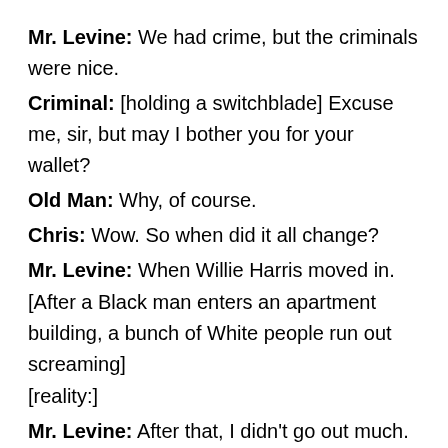Mr. Levine: We had crime, but the criminals were nice.
Criminal: [holding a switchblade] Excuse me, sir, but may I bother you for your wallet?
Old Man: Why, of course.
Chris: Wow. So when did it all change?
Mr. Levine: When Willie Harris moved in.
[After a Black man enters an apartment building, a bunch of White people run out screaming]
[reality:]
Mr. Levine: After that, I didn't go out much. Just wasn't the same.
Adult Chris: [v.o.] They replaced the crackers